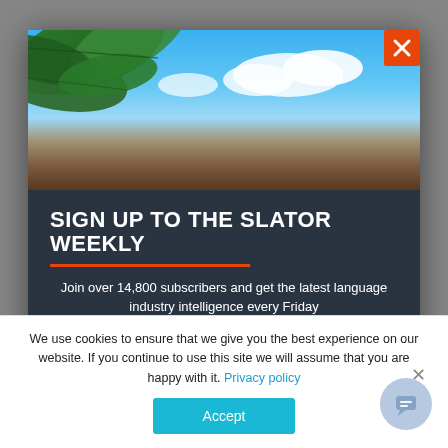[Figure (screenshot): Modal popup on a website showing a newsletter sign-up form for 'Slator Weekly' with a hero image of tropical leaves and blue sky, an orange underline, subscription text, and an email input field. Background shows a greyed-out webpage.]
SIGN UP TO THE SLATOR WEEKLY
Join over 14,800 subscribers and get the latest language industry intelligence every Friday
We use cookies to ensure that we give you the best experience on our website. If you continue to use this site we will assume that you are happy with it. Privacy policy